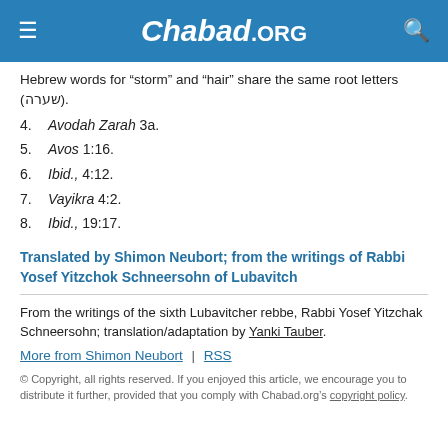Chabad.ORG
Hebrew words for “storm” and “hair” share the same root letters (שערה).
4. Avodah Zarah 3a.
5. Avos 1:16.
6. Ibid., 4:12.
7. Vayikra 4:2.
8. Ibid., 19:17.
Translated by Shimon Neubort; from the writings of Rabbi Yosef Yitzchok Schneersohn of Lubavitch
From the writings of the sixth Lubavitcher rebbe, Rabbi Yosef Yitzchak Schneersohn; translation/adaptation by Yanki Tauber.
More from Shimon Neubort | RSS
© Copyright, all rights reserved. If you enjoyed this article, we encourage you to distribute it further, provided that you comply with Chabad.org’s copyright policy.